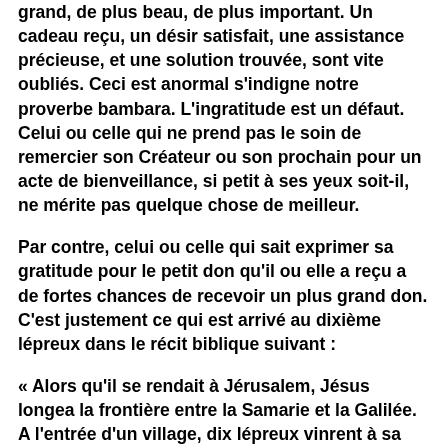grand, de plus beau, de plus important. Un cadeau reçu, un désir satisfait, une assistance précieuse, et une solution trouvée, sont vite oubliés. Ceci est anormal s'indigne notre proverbe bambara. L'ingratitude est un défaut. Celui ou celle qui ne prend pas le soin de remercier son Créateur ou son prochain pour un acte de bienveillance, si petit à ses yeux soit-il, ne mérite pas quelque chose de meilleur.
Par contre, celui ou celle qui sait exprimer sa gratitude pour le petit don qu'il ou elle a reçu a de fortes chances de recevoir un plus grand don. C'est justement ce qui est arrivé au dixième lépreux dans le récit biblique suivant :
« Alors qu'il se rendait à Jérusalem, Jésus longea la frontière entre la Samarie et la Galilée. A l'entrée d'un village, dix lépreux vinrent à sa rencontre ; ils